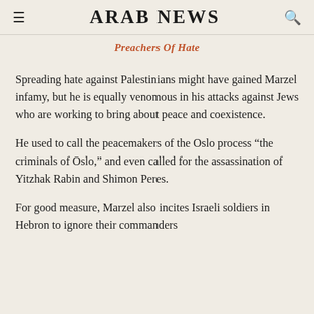ARAB NEWS
Preachers Of Hate
Spreading hate against Palestinians might have gained Marzel infamy, but he is equally venomous in his attacks against Jews who are working to bring about peace and coexistence.
He used to call the peacemakers of the Oslo process “the criminals of Oslo,” and even called for the assassination of Yitzhak Rabin and Shimon Peres.
For good measure, Marzel also incites Israeli soldiers in Hebron to ignore their commanders